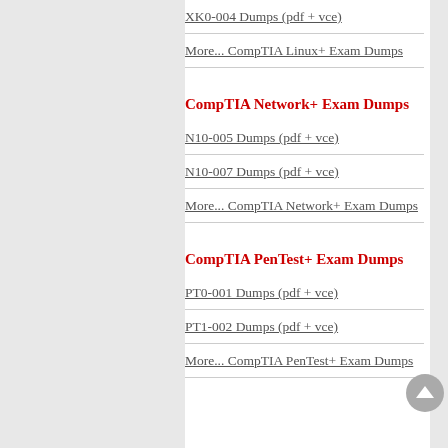XK0-004 Dumps (pdf + vce)
More... CompTIA Linux+ Exam Dumps
CompTIA Network+ Exam Dumps
N10-005 Dumps (pdf + vce)
N10-007 Dumps (pdf + vce)
More... CompTIA Network+ Exam Dumps
CompTIA PenTest+ Exam Dumps
PT0-001 Dumps (pdf + vce)
PT1-002 Dumps (pdf + vce)
More... CompTIA PenTest+ Exam Dumps